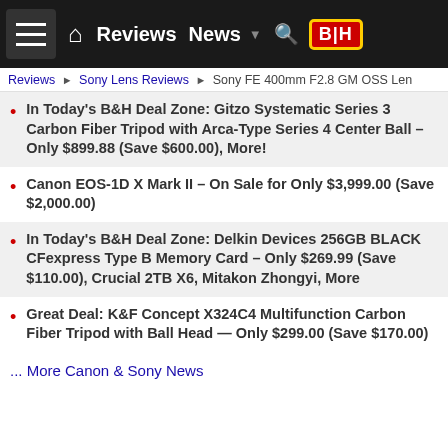≡  🏠  Reviews  News  ▼  🔍  B|H
Reviews ▶ Sony Lens Reviews ▶ Sony FE 400mm F2.8 GM OSS Len
In Today's B&H Deal Zone: Gitzo Systematic Series 3 Carbon Fiber Tripod with Arca-Type Series 4 Center Ball – Only $899.88 (Save $600.00), More!
Canon EOS-1D X Mark II – On Sale for Only $3,999.00 (Save $2,000.00)
In Today's B&H Deal Zone: Delkin Devices 256GB BLACK CFexpress Type B Memory Card – Only $269.99 (Save $110.00), Crucial 2TB X6, Mitakon Zhongyi, More
Great Deal: K&F Concept X324C4 Multifunction Carbon Fiber Tripod with Ball Head — Only $299.00 (Save $170.00)
... More Canon & Sony News